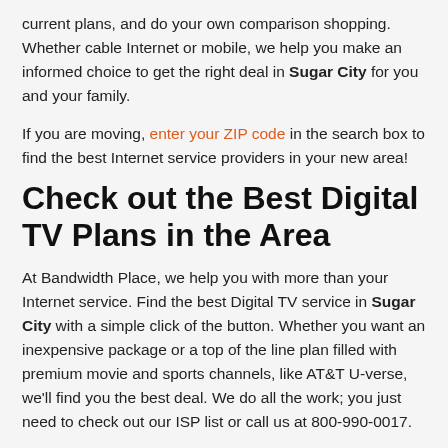current plans, and do your own comparison shopping. Whether cable Internet or mobile, we help you make an informed choice to get the right deal in Sugar City for you and your family.
If you are moving, enter your ZIP code in the search box to find the best Internet service providers in your new area!
Check out the Best Digital TV Plans in the Area
At Bandwidth Place, we help you with more than your Internet service. Find the best Digital TV service in Sugar City with a simple click of the button. Whether you want an inexpensive package or a top of the line plan filled with premium movie and sports channels, like AT&T U-verse, we'll find you the best deal. We do all the work; you just need to check out our ISP list or call us at 800-990-0017.